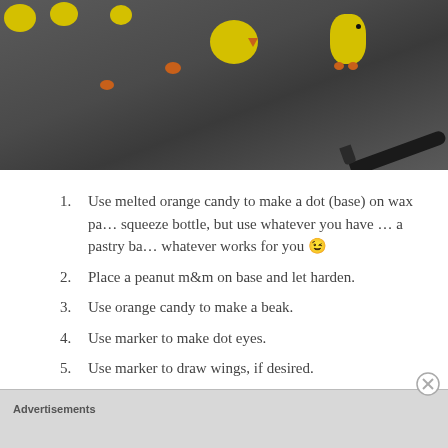[Figure (photo): Photo of yellow candy chick decorations and orange M&M candy pieces arranged on a dark gray surface, with a black marker pen visible at the bottom right corner.]
Use melted orange candy to make a dot (base) on wax pa... squeeze bottle, but use whatever you have … a pastry ba... whatever works for you 😉
Place a peanut m&m on base and let harden.
Use orange candy to make a beak.
Use marker to make dot eyes.
Use marker to draw wings, if desired.
Advertisements